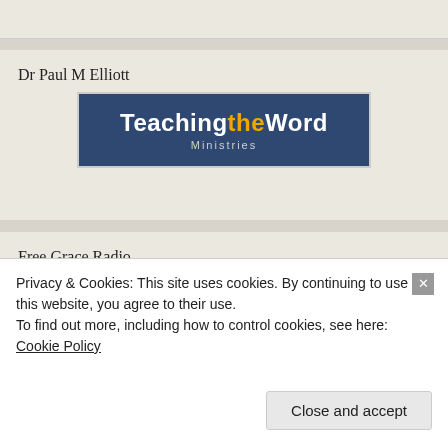Dr Paul M Elliott
[Figure (logo): TeachingtheWord Ministries logo — dark blue rectangle with white bold text 'Teachingthe' and gold 'the' and white 'Word', subtitle 'Ministries' in light text below]
Free Grace Radio
[Figure (other): Black banner image with a gold RSS/radio wave icon in the center]
Privacy & Cookies: This site uses cookies. By continuing to use this website, you agree to their use.
To find out more, including how to control cookies, see here: Cookie Policy
Close and accept